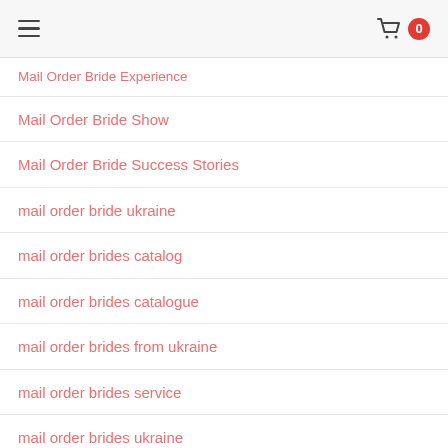☰  [cart] 0
Mail Order Bride Experience
Mail Order Bride Show
Mail Order Bride Success Stories
mail order bride ukraine
mail order brides catalog
mail order brides catalogue
mail order brides from ukraine
mail order brides service
mail order brides ukraine
mail order brides.com
mail order russian wives